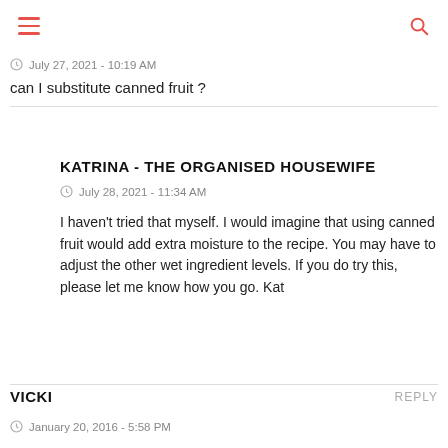July 27, 2021 - 10:19 AM
can I substitute canned fruit ?
KATRINA - THE ORGANISED HOUSEWIFE
July 28, 2021 - 11:34 AM
I haven't tried that myself. I would imagine that using canned fruit would add extra moisture to the recipe. You may have to adjust the other wet ingredient levels. If you do try this, please let me know how you go. Kat
VICKI
January 20, 2016 - 5:58 PM